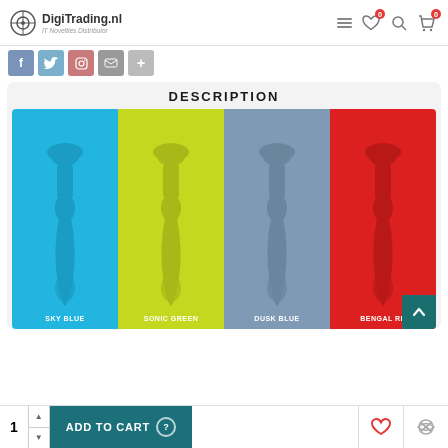DigiTrading.nl — IT Novelties Distributor
[Figure (photo): Four color variants of a silicone tool/key organizer gadget: Sky Blue, Sonic Green, Dusk Blue, Bengal Red — displayed as colored panel backgrounds with product silhouette and color label text.]
DESCRIPTION
SKY BLUE   SONIC GREEN   DUSK BLUE   BENGAL RE...